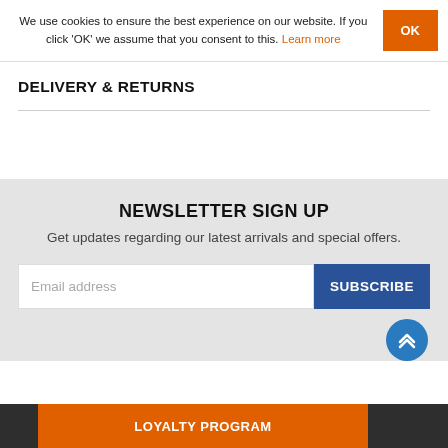We use cookies to ensure the best experience on our website. If you click 'OK' we assume that you consent to this. Learn more
DELIVERY & RETURNS
NEWSLETTER SIGN UP
Get updates regarding our latest arrivals and special offers.
Email address
SUBSCRIBE
LOYALTY PROGRAM